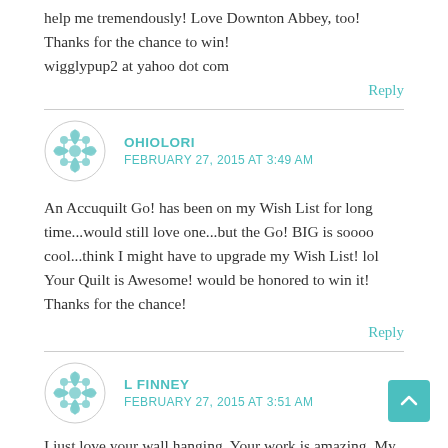help me tremendously! Love Downton Abbey, too! Thanks for the chance to win!
wigglypup2 at yahoo dot com
Reply
OHIOLORI
FEBRUARY 27, 2015 AT 3:49 AM
An Accuquilt Go! has been on my Wish List for long time...would still love one...but the Go! BIG is soooo cool...think I might have to upgrade my Wish List! lol Your Quilt is Awesome! would be honored to win it! Thanks for the chance!
Reply
L FINNEY
FEBRUARY 27, 2015 AT 3:51 AM
I just love your wall hanging. Your work is amazing. My mother-